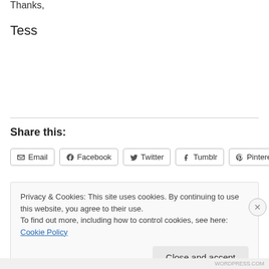Thanks,
Tess
Share this:
Email  Facebook  Twitter  Tumblr  Pinterest
Privacy & Cookies: This site uses cookies. By continuing to use this website, you agree to their use.
To find out more, including how to control cookies, see here: Cookie Policy
Close and accept